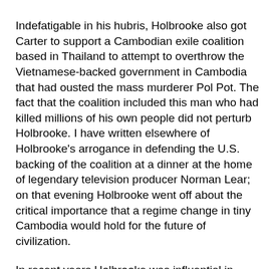Indefatigable in his hubris, Holbrooke also got Carter to support a Cambodian exile coalition based in Thailand to attempt to overthrow the Vietnamese-backed government in Cambodia that had ousted the mass murderer Pol Pot. The fact that the coalition included this man who had killed millions of his own people did not perturb Holbrooke. I have written elsewhere of Holbrooke's arrogance in defending the U.S. backing of the coalition at a dinner at the home of legendary television producer Norman Lear; on that evening Holbrooke went off about the critical importance that a regime change in tiny Cambodia would hold for the future of civilization.
In recent years Holbrooke was influential in getting the Obama